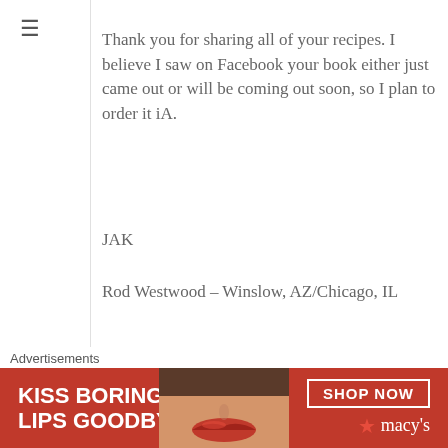Thank you for sharing all of your recipes. I believe I saw on Facebook your book either just came out or will be coming out soon, so I plan to order it iA.
JAK
Rod Westwood – Winslow, AZ/Chicago, IL
167
[Figure (photo): Profile photo of Sawsan Abu Farha wearing a hijab]
Sawsan Abu Farha @ Chef in disguise on January 3, 2017 at 5:00 PM
Advertisements
[Figure (photo): Macy's advertisement: KISS BORING LIPS GOODBYE with SHOP NOW button and macy's logo, featuring a woman's lips with red lipstick]